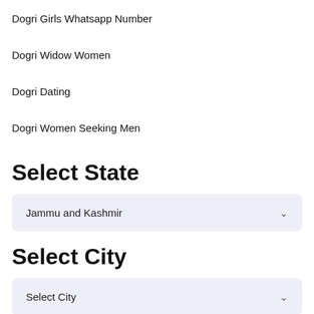Dogri Girls Whatsapp Number
Dogri Widow Women
Dogri Dating
Dogri Women Seeking Men
Select State
Jammu and Kashmir
Select City
Select City